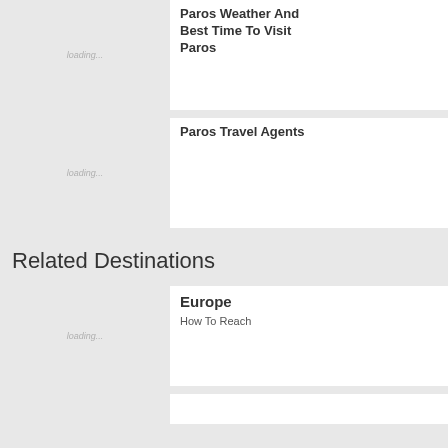Paros Weather And Best Time To Visit Paros
[Figure (photo): Loading placeholder image for Paros Weather And Best Time To Visit Paros]
Paros Travel Agents
Related Destinations
[Figure (photo): Loading placeholder image for Europe]
Europe
How To Reach
[Figure (photo): Loading placeholder image for next destination]